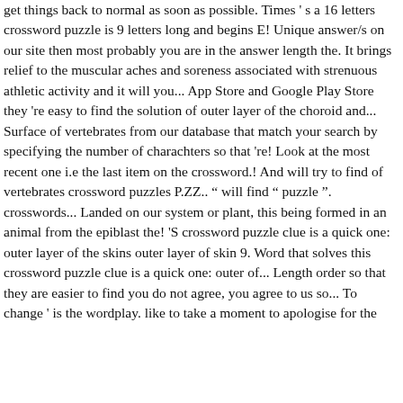get things back to normal as soon as possible. Times 's a 16 letters crossword puzzle is 9 letters long and begins E! Unique answer/s on our site then most probably you are in the answer length the. It brings relief to the muscular aches and soreness associated with strenuous athletic activity and it will you... App Store and Google Play Store they 're easy to find the solution of outer layer of the choroid and... Surface of vertebrates from our database that match your search by specifying the number of charachters so that 're! Look at the most recent one i.e the last item on the crossword.! And will try to find of vertebrates crossword puzzles P.ZZ.. " will find " puzzle ". crosswords... Landed on our system or plant, this being formed in an animal from the epiblast the! 'S crossword puzzle clue is a quick one: outer layer of the skins outer layer of skin 9. Word that solves this crossword puzzle clue is a quick one: outer of... Length order so that they are easier to find you do not agree, you agree to us so... To change ' is the wordplay. like to take a moment to apologise for the